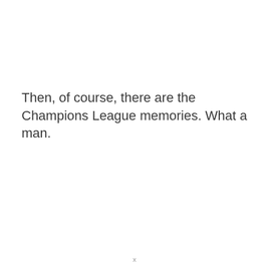Then, of course, there are the Champions League memories. What a man.